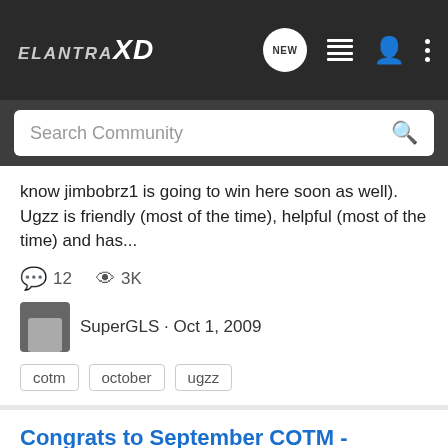ELANTRA XD
know jimbobrz1 is going to win here soon as well). Ugzz is friendly (most of the time), helpful (most of the time) and has...
12   3K
SuperGLS · Oct 1, 2009
cotm   october   ugzz
Congrats to September COTM - Alienpit
ElantraXD.com News
Congrats to Alienpit for being nominated September's COTM. It's his second Elantra and the Tiburon front looks really good (I think we can all agree about that). Everyone say congrats. The COTM page will be up later today. PS- As the possibly best/leading Elantra is in COTM